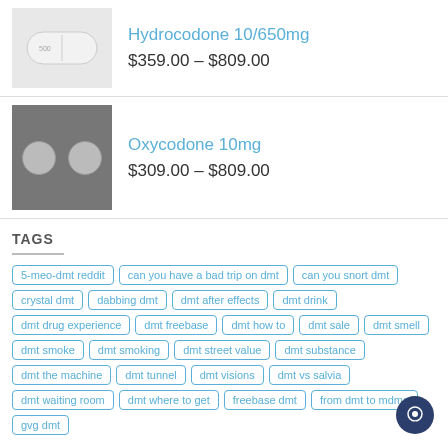[Figure (photo): White oval pill with score line on grey background]
Hydrocodone 10/650mg
$359.00 – $809.00
[Figure (photo): Two small round white pills on dark background]
Oxycodone 10mg
$309.00 – $809.00
TAGS
5-meo-dmt reddit
can you have a bad trip on dmt
can you snort dmt
crystal dmt
dabbing dmt
dmt after effects
dmt drink
dmt drug experience
dmt freebase
dmt how to
dmt sale
dmt smell
dmt smoke
dmt smoking
dmt street value
dmt substance
dmt the machine
dmt tunnel
dmt visions
dmt vs salvia
dmt waiting room
dmt where to get
freebase dmt
from dmt to mdma
gvg dmt